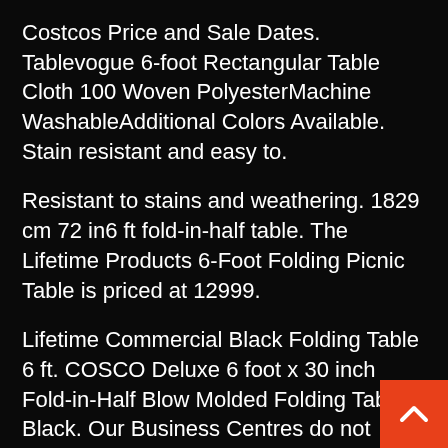Costcos Price and Sale Dates. Tablevogue 6-foot Rectangular Table Cloth 100 Woven PolyesterMachine WashableAdditional Colors Available. Stain resistant and easy to.
Resistant to stains and weathering. 1829 cm 72 in6 ft fold-in-half table. The Lifetime Products 6-Foot Folding Picnic Table is priced at 12999.
Lifetime Commercial Black Folding Table 6 ft. COSCO Deluxe 6 foot x 30 inch Fold-in-Half Blow Molded Folding Table Black. Our Business Centres do not deliver to residential addresses.
Add Lifetime Commercial Almond Folding Table 24384 cm 8 ft Item 413699 Compare Product. Lifetime Commercial Black Folding Table 6 ft. Go from foldin